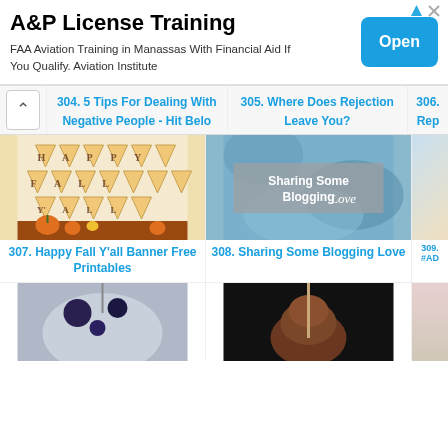[Figure (screenshot): Advertisement banner: A&P License Training. FAA Aviation Training in Manassas With Financial Aid If You Qualify. Aviation Institute. Blue Open button.]
304. 5 Tips For Dealing With Negative People - Hit Belo
305. Where Does Rejection Leave You?
306. Rep...
[Figure (photo): Happy Fall Y'all banner bunting with pumpkins]
307. Happy Fall Y'all Banner Free Printables
[Figure (photo): Sharing Some Blogging Love - text overlay on blue fabric background]
308. Sharing Some Blogging Love
309. #AD...
[Figure (photo): Blueberry drink/bowl - partial image at bottom]
[Figure (photo): Ice cream on stick - dark background - partial image at bottom]
[Figure (photo): Partial image at bottom right]